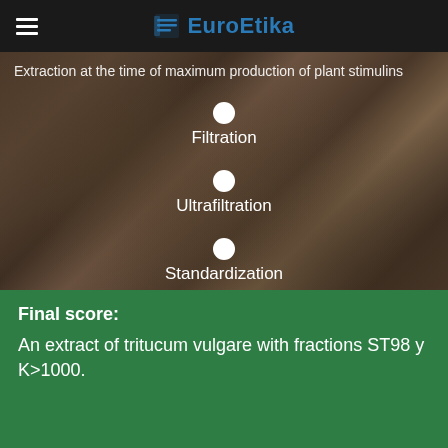EuroEtika
Extraction at the time of maximum production of plant stimulins
Filtration
Ultrafiltration
Standardization
Final score:
An extract of tritucum vulgare with fractions ST98 y K>1000.